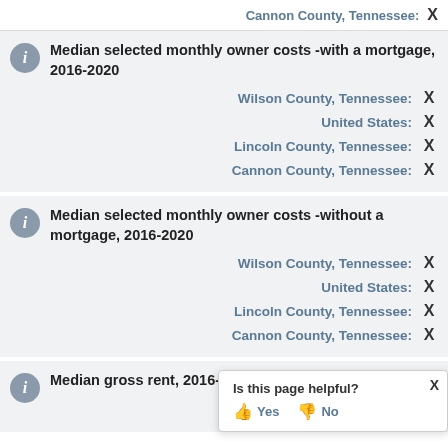Cannon County, Tennessee:  X
Median selected monthly owner costs -with a mortgage, 2016-2020
Wilson County, Tennessee:  X
United States:  X
Lincoln County, Tennessee:  X
Cannon County, Tennessee:  X
Median selected monthly owner costs -without a mortgage, 2016-2020
Wilson County, Tennessee:  X
United States:  X
Lincoln County, Tennessee:  X
Cannon County, Tennessee:  X
Median gross rent, 2016-2020
Wilson Co
Is this page helpful?  Yes  No